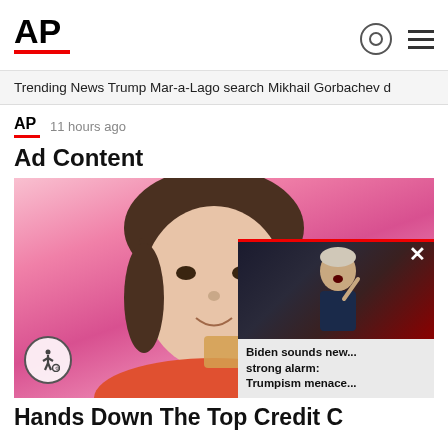AP
Trending News   Trump Mar-a-Lago search   Mikhail Gorbachev d
AP  11 hours ago
Ad Content
[Figure (photo): Woman with brown hair and bangs in front of pink background, holding a card, smiling slightly. Accessibility icon overlay. Floating video overlay in bottom-right corner showing Biden speaking at a podium with caption 'Biden sounds new... strong alarm: Trumpism menace...']
Hands Down The Top Credit C